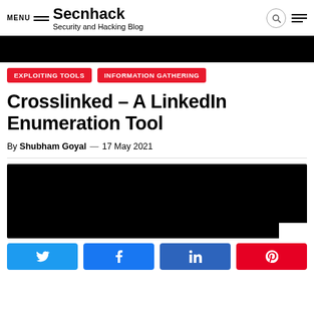MENU | Secnhack | Security and Hacking Blog
[Figure (photo): Black image banner at the top of the article]
EXPLOITING TOOLS
INFORMATION GATHERING
Crosslinked – A LinkedIn Enumeration Tool
By Shubham Goyal — 17 May 2021
[Figure (photo): Black image/screenshot for the article body]
Social share buttons: Twitter, Facebook, LinkedIn, Pinterest